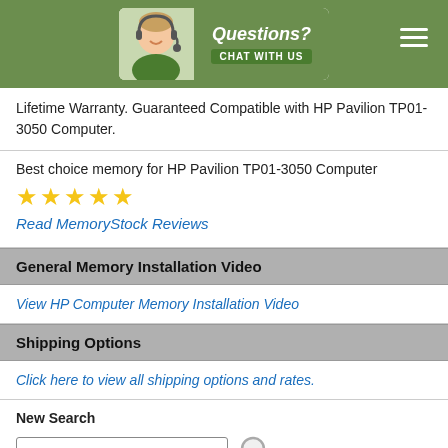Questions? Chat With Us
Lifetime Warranty. Guaranteed Compatible with HP Pavilion TP01-3050 Computer.
Best choice memory for HP Pavilion TP01-3050 Computer
★★★★★
Read MemoryStock Reviews
General Memory Installation Video
View HP Computer Memory Installation Video
Shipping Options
Click here to view all shipping options and rates.
New Search
[Figure (screenshot): Search input field with placeholder 'Enter keywords.....' and a magnifying glass search icon]
[Figure (illustration): Delivery van with 'Shipped Same Day*' text on its side]